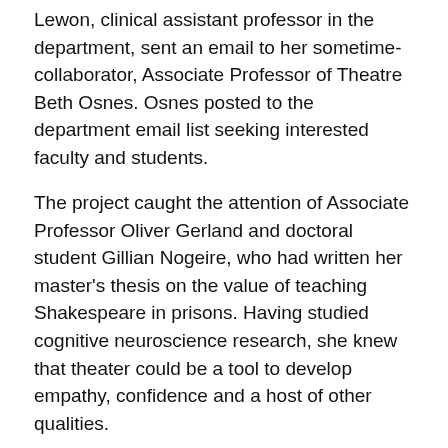Lewon, clinical assistant professor in the department, sent an email to her sometime-collaborator, Associate Professor of Theatre Beth Osnes. Osnes posted to the department email list seeking interested faculty and students.
The project caught the attention of Associate Professor Oliver Gerland and doctoral student Gillian Nogeire, who had written her master's thesis on the value of teaching Shakespeare in prisons. Having studied cognitive neuroscience research, she knew that theater could be a tool to develop empathy, confidence and a host of other qualities.
“I wanted to do more outside the department in the field of science, to expand on and learn more about what happens in the brain when you do theater,” she says.
Gerland, Kleiber, Nogeire, Riseman, with an occasional